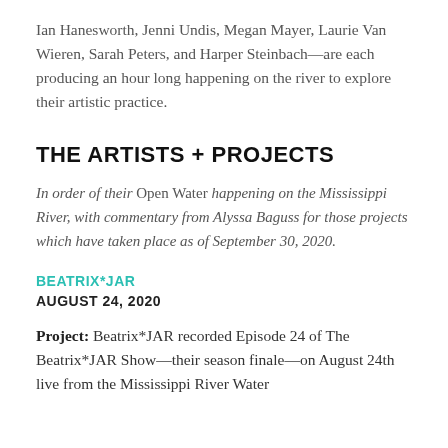Ian Hanesworth, Jenni Undis, Megan Mayer, Laurie Van Wieren, Sarah Peters, and Harper Steinbach—are each producing an hour long happening on the river to explore their artistic practice.
THE ARTISTS + PROJECTS
In order of their Open Water happening on the Mississippi River, with commentary from Alyssa Baguss for those projects which have taken place as of September 30, 2020.
BEATRIX*JAR
AUGUST 24, 2020
Project: Beatrix*JAR recorded Episode 24 of The Beatrix*JAR Show—their season finale—on August 24th live from the Mississippi River Water